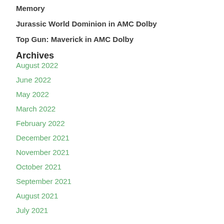Memory
Jurassic World Dominion in AMC Dolby
Top Gun: Maverick in AMC Dolby
Archives
August 2022
June 2022
May 2022
March 2022
February 2022
December 2021
November 2021
October 2021
September 2021
August 2021
July 2021